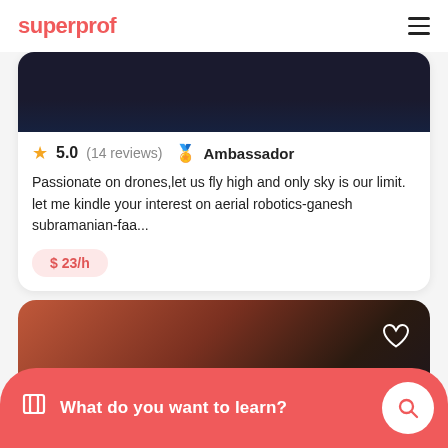superprof
5.0 (14 reviews) Ambassador
Passionate on drones,let us fly high and only sky is our limit. let me kindle your interest on aerial robotics-ganesh subramanian-faa...
$ 23/h
[Figure (photo): Photo of a person in a bar/restaurant setting with orange/red ambient lighting]
What do you want to learn?